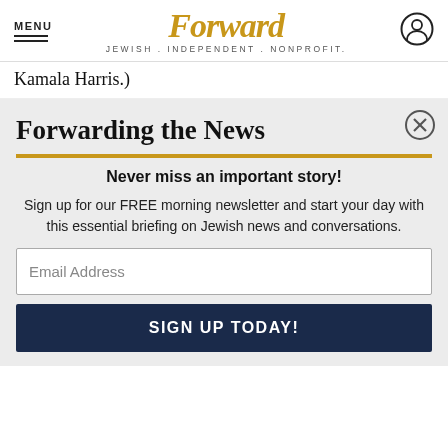MENU | Forward JEWISH . INDEPENDENT . NONPROFIT.
Kamala Harris.)
Forwarding the News
Never miss an important story!
Sign up for our FREE morning newsletter and start your day with this essential briefing on Jewish news and conversations.
Email Address
SIGN UP TODAY!